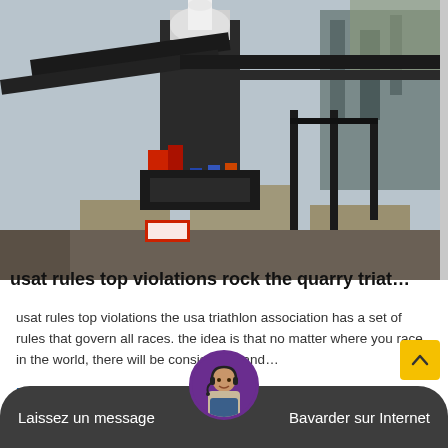[Figure (photo): Industrial quarry machinery - stone crusher/processing equipment with conveyor belts and concrete supports, photographed outdoors]
usat rules top violations rock the quarry triat…
usat rules top violations the usa triathlon association has a set of rules that govern all races. the idea is that no matter where you race in the world, there will be consistency and…
Lire La Suite
Laissez un message   Bavarder sur Internet